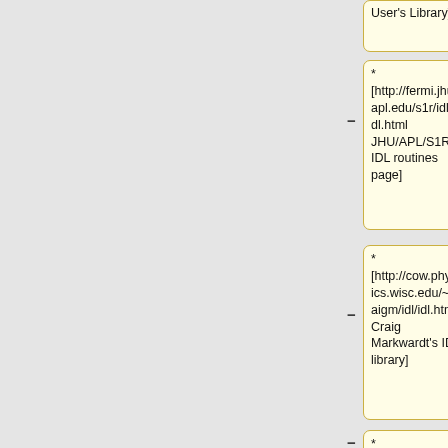[Figure (flowchart): Wikipedia-style edit flowchart showing list items with wiki markup for IDL resource links. Three rows visible: (1) partial top row showing 'User's Library]'; (2) middle row with '*  [http://fermi.jhuapl.edu/s1r/idl/idl.html JHU/APL/S1R IDL routines page]' with minus and plus connectors and a blue cell; (3) row with '* [http://cow.physics.wisc.edu/~craigm/idl/idl.html Craig Markwardt's IDL library]' with minus and plus connectors and a blue cell; (4) partial bottom row with '* [http://cimss.ssec.wisc.edu/~gumley/doc/idltips.pdf The Underground...' with minus and plus connectors.]